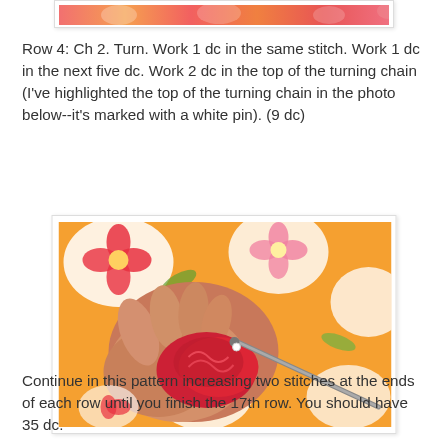[Figure (photo): Top portion of a photo showing a colorful floral fabric background with red, orange, pink flowers]
Row 4: Ch 2. Turn. Work 1 dc in the same stitch. Work 1 dc in the next five dc. Work 2 dc in the top of the turning chain (I've highlighted the top of the turning chain in the photo below--it's marked with a white pin). (9 dc)
[Figure (photo): A hand holding red crochet work with a crochet hook, on a colorful floral fabric background]
Continue in this pattern increasing two stitches at the ends of each row until you finish the 17th row. You should have 35 dc.